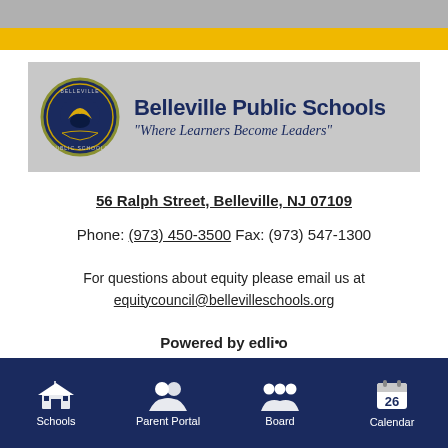[Figure (logo): Belleville Public Schools logo banner with circular school crest and text 'Belleville Public Schools' and tagline 'Where Learners Become Leaders']
56 Ralph Street, Belleville, NJ 07109
Phone: (973) 450-3500 Fax: (973) 547-1300
For questions about equity please email us at equitycouncil@bellevilleschools.org
Powered by edlio
[Figure (infographic): Navigation bar with four items: Schools, Parent Portal, Board, Calendar icons on dark navy background]